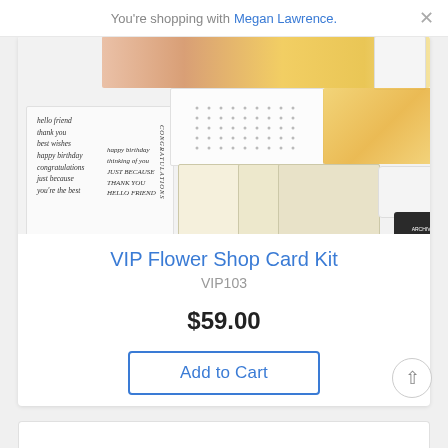You're shopping with Megan Lawrence.
[Figure (photo): Product image of VIP Flower Shop Card Kit showing stamp sheet with handwritten greetings, dotted card, floral patterned paper, cream card stock, envelopes, white ink pad, and black ink pad]
VIP Flower Shop Card Kit
VIP103
$59.00
Add to Cart